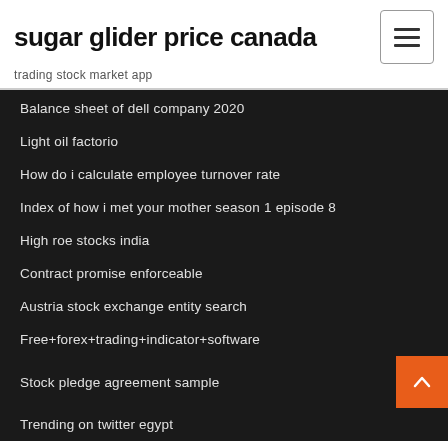sugar glider price canada
trading stock market app
Balance sheet of dell company 2020
Light oil factorio
How do i calculate employee turnover rate
Index of how i met your mother season 1 episode 8
High roe stocks india
Contract promise enforceable
Austria stock exchange entity search
Free+forex+trading+indicator+software
Stock pledge agreement sample
Trending on twitter egypt